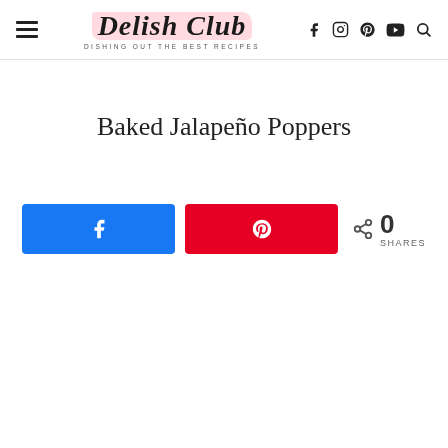Delish Club — DISHING OUT THE BEST RECIPES
Baked Jalapeño Poppers
[Figure (other): Social share bar with Facebook share button (blue), Pinterest share button (red), share icon, count 0 and SHARES label]